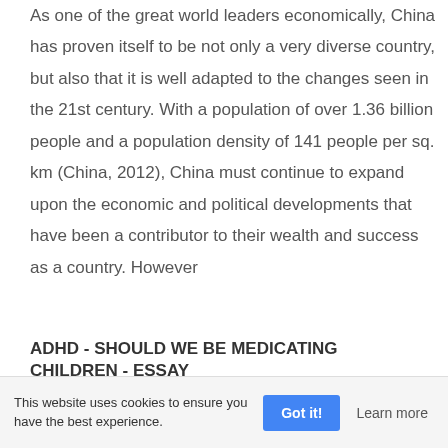As one of the great world leaders economically, China has proven itself to be not only a very diverse country, but also that it is well adapted to the changes seen in the 21st century. With a population of over 1.36 billion people and a population density of 141 people per sq. km (China, 2012), China must continue to expand upon the economic and political developments that have been a contributor to their wealth and success as a country. However
ADHD - SHOULD WE BE MEDICATING CHILDREN - ESSAY
This website uses cookies to ensure you have the best experience.